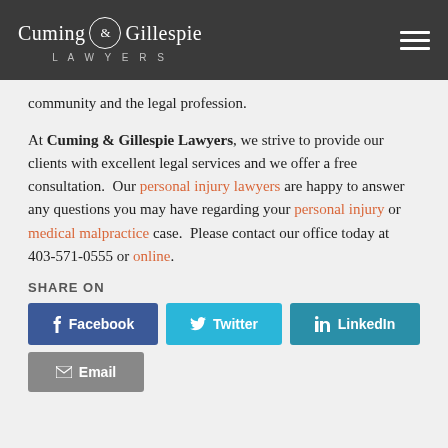Cuming & Gillespie LAWYERS
community and the legal profession.
At Cuming & Gillespie Lawyers, we strive to provide our clients with excellent legal services and we offer a free consultation.  Our personal injury lawyers are happy to answer any questions you may have regarding your personal injury or medical malpractice case.  Please contact our office today at 403-571-0555 or online.
SHARE ON
Facebook  Twitter  LinkedIn  Email